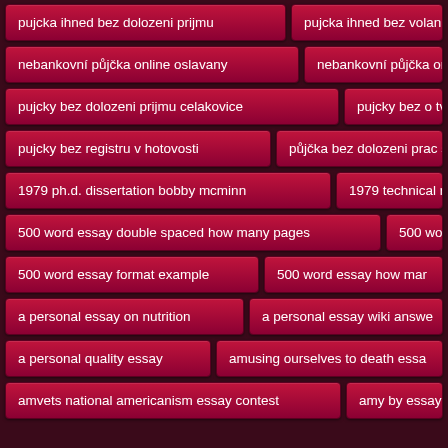pujcka ihned bez dolozeni prijmu
pujcka ihned bez volan…
nebankovní půjčka online oslavany
nebankovní půjčka on…
pujcky bez dolozeni prijmu celakovice
pujcky bez o tvrzen…
pujcky bez registru v hotovosti
půjčka bez dolozeni prac s…
1979 ph.d. dissertation bobby mcminn
1979 technical res…
500 word essay double spaced how many pages
500 wor…
500 word essay format example
500 word essay how mar…
a personal essay on nutrition
a personal essay wiki answe…
a personal quality essay
amusing ourselves to death essa…
amvets national americanism essay contest
amy by essay…